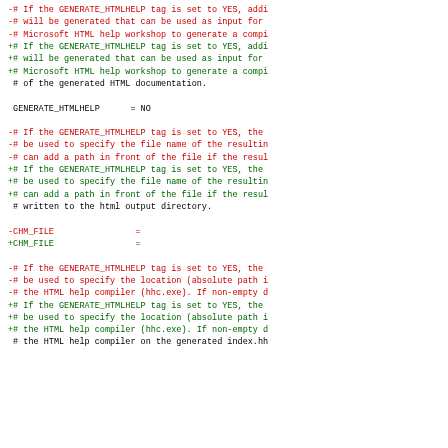Diff code block showing GENERATE_HTMLHELP and CHM_FILE configuration changes in a Doxygen config file